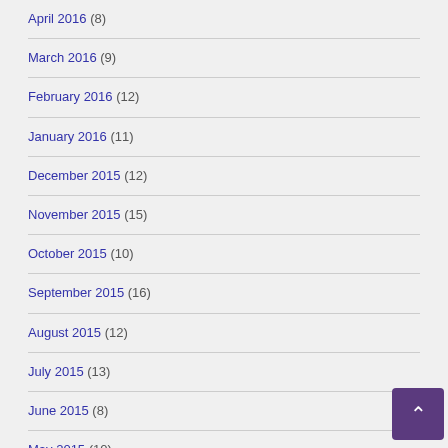April 2016 (8)
March 2016 (9)
February 2016 (12)
January 2016 (11)
December 2015 (12)
November 2015 (15)
October 2015 (10)
September 2015 (16)
August 2015 (12)
July 2015 (13)
June 2015 (8)
May 2015 (10)